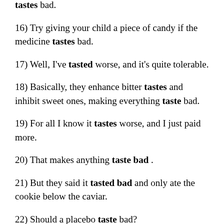tastes bad.
16) Try giving your child a piece of candy if the medicine tastes bad.
17) Well, I've tasted worse, and it's quite tolerable.
18) Basically, they enhance bitter tastes and inhibit sweet ones, making everything taste bad.
19) For all I know it tastes worse, and I just paid more.
20) That makes anything taste bad .
21) But they said it tasted bad and only ate the cookie below the caviar.
22) Should a placebo taste bad?